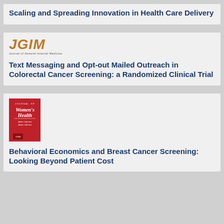Scaling and Spreading Innovation in Health Care Delivery
[Figure (logo): JGIM - Journal of General Internal Medicine logo in orange/gold italic text]
Text Messaging and Opt-out Mailed Outreach in Colorectal Cancer Screening: a Randomized Clinical Trial
[Figure (photo): Journal of Women's Health magazine cover - red cover with white text]
Behavioral Economics and Breast Cancer Screening: Looking Beyond Patient Cost